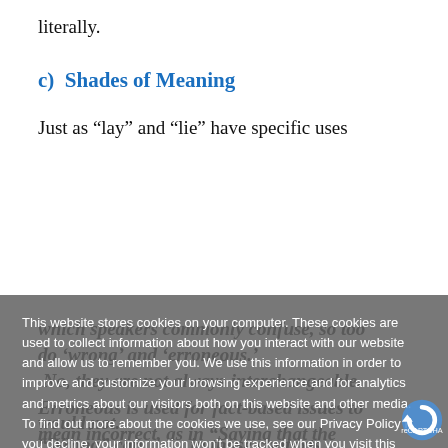literally.
c)  Shades of Meaning
Just as “lay” and “lie” have specific uses which speakers commonly confuse, so too do ‘wrong’ and ‘erroneous.’
No, they are not always interchangeable. Erroneous is used for fact-based issues to mean incorrect, as in “Saying that the world is flat is erroneous,” or “She was ...
"Wrong" can... in those contexts
This website stores cookies on your computer. These cookies are used to collect information about how you interact with our website and allow us to remember you. We use this information in order to improve and customize your browsing experience and for analytics and metrics about our visitors both on this website and other media. To find out more about the cookies we use, see our Privacy Policy If you decline, your information won’t be tracked when you visit this website. A single cookie will be used in your browser to remember your preference not to be tracked.